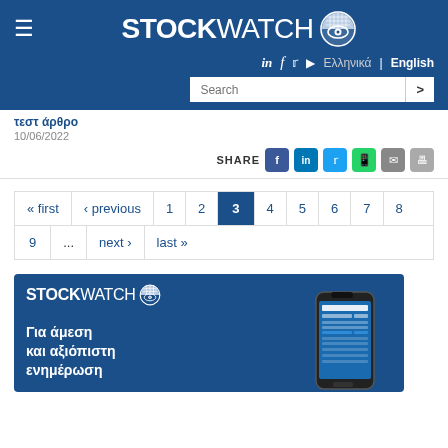[Figure (logo): Stockwatch logo with hamburger menu icon on blue background header]
in f ▶ Ελληνικά | English  [Search] >
10/06/2022
SHARE
« first ‹ previous 1 2 3 4 5 6 7 8 9 ... next › last »
[Figure (infographic): Stockwatch advertisement banner with app screenshot and Greek text: Για άμεση και αξιόπιστη ενημέρωση]